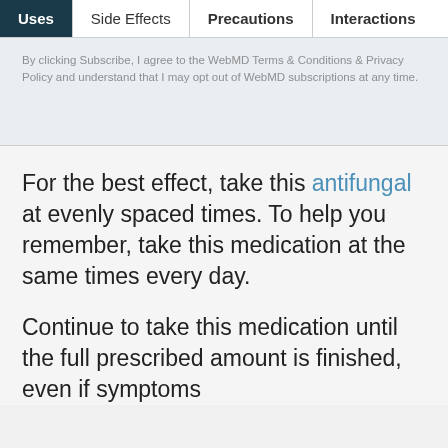Uses | Side Effects | Precautions | Interactions
By clicking Subscribe, I agree to the WebMD Terms & Conditions & Privacy Policy and understand that I may opt out of WebMD subscriptions at any time.
For the best effect, take this antifungal at evenly spaced times. To help you remember, take this medication at the same times every day.
Continue to take this medication until the full prescribed amount is finished, even if symptoms